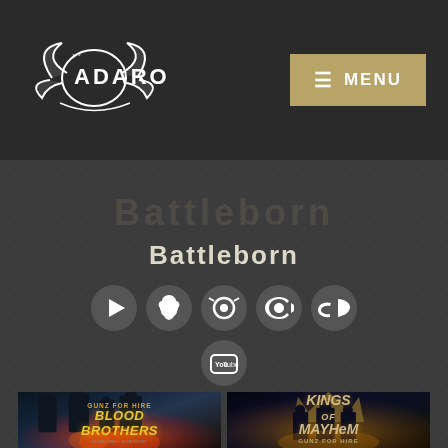[Figure (logo): Adaro logo in white on dark header background]
≡ MENU
Battleborn
Battleborn
[Figure (infographic): Social media icons: Google Play, Apple Music, Headphones, Spotify, SoundCloud, YouTube]
[Figure (photo): Gunz for Hire - Blood Brothers album cover: dark urban scene with armed figures]
[Figure (photo): Kings of Mayhem - Gunz for Hire album cover: three figures standing before a giant crown with dramatic lighting]